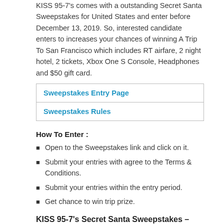KISS 95-7's comes with a outstanding Secret Santa Sweepstakes for United States and enter before December 13, 2019. So, interested candidate enters to increases your chances of winning A Trip To San Francisco which includes RT airfare, 2 night hotel, 2 tickets, Xbox One S Console, Headphones and $50 gift card.
| Sweepstakes Entry Page |
| Sweepstakes Rules |
How To Enter :
Open to the Sweepstakes link and click on it.
Submit your entries with agree to the Terms & Conditions.
Submit your entries within the entry period.
Get chance to win trip prize.
KISS 95-7's Secret Santa Sweepstakes –